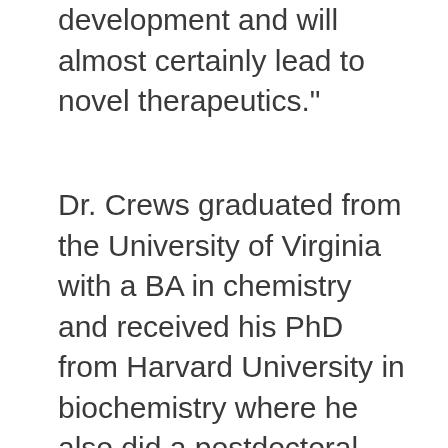development and will almost certainly lead to novel therapeutics."
Dr. Crews graduated from the University of Virginia with a BA in chemistry and received his PhD from Harvard University in biochemistry where he also did a postdoctoral fellowship. On the faculty at Yale since 1995, his laboratory pioneered the use of small molecules to control intracellular protein levels. He was a co-founder of Proteolix, Inc. in 2003 and founded Arvinas, Inc. in 2013. Dr. Crews is currently the Lewis Cullman Professor of Molecular, Cellular and